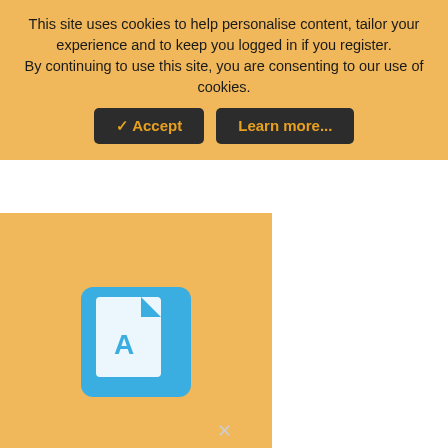This site uses cookies to help personalise content, tailor your experience and to keep you logged in if you register.
By continuing to use this site, you are consenting to our use of cookies.
[Figure (screenshot): PDF file attachment thumbnail showing Adobe PDF icon on orange background with filename label 'roger ellison vs bk.pdf' in brown bar]
justthinkin
New Member
Oct 25, 2009
#23